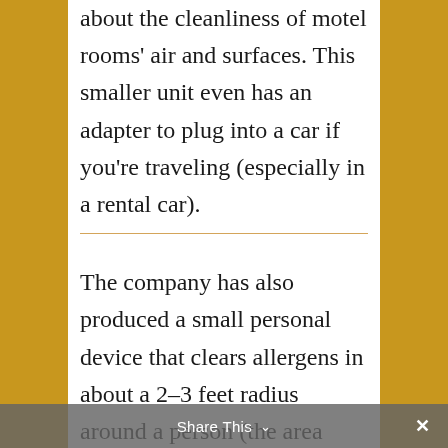about the cleanliness of motel rooms' air and surfaces. This smaller unit even has an adapter to plug into a car if you're traveling (especially in a rental car).
The company has also produced a small personal device that clears allergens in about a 2–3 feet radius around a person (the area from which each breath is taken) as they walk
Share This ∨  ×